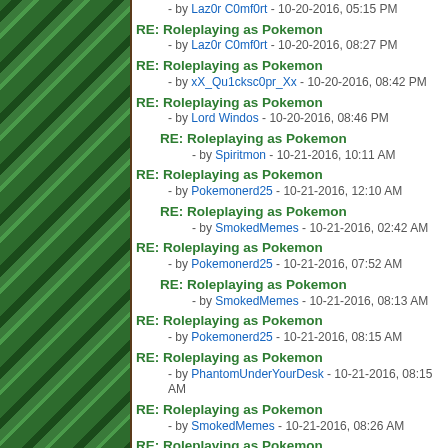RE: Roleplaying as Pokemon - by Laz0r C0mf0rt - 10-20-2016, 05:15 PM
RE: Roleplaying as Pokemon - by Laz0r C0mf0rt - 10-20-2016, 08:27 PM
RE: Roleplaying as Pokemon - by xX_Qu1cksc0pr_Xx - 10-20-2016, 08:42 PM
RE: Roleplaying as Pokemon - by Lord Windos - 10-20-2016, 08:46 PM
RE: Roleplaying as Pokemon - by Spiritmon - 10-21-2016, 10:11 AM
RE: Roleplaying as Pokemon - by Pokemonerd25 - 10-21-2016, 12:10 AM
RE: Roleplaying as Pokemon - by SmokedMemes - 10-21-2016, 02:42 AM
RE: Roleplaying as Pokemon - by Pokemonerd25 - 10-21-2016, 07:52 AM
RE: Roleplaying as Pokemon - by SmokedMemes - 10-21-2016, 08:13 AM
RE: Roleplaying as Pokemon - by Pokemonerd25 - 10-21-2016, 08:15 AM
RE: Roleplaying as Pokemon - by PhantomUnderYourDesk - 10-21-2016, 08:15 AM
RE: Roleplaying as Pokemon - by SmokedMemes - 10-21-2016, 08:26 AM
RE: Roleplaying as Pokemon - by Pokemonerd25 - 10-21-2016, 10:07 AM
RE: Roleplaying as Pokemon - by PhantomUnderYourDesk - 10-21-2016, 10:15 AM